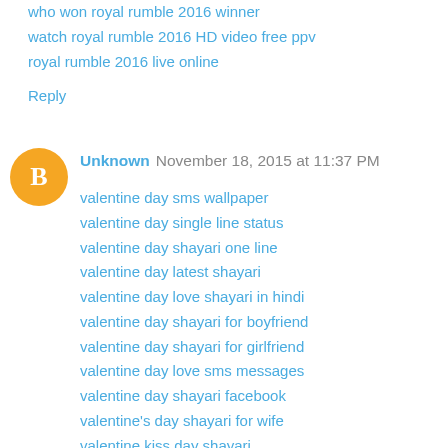who won royal rumble 2016 winner
watch royal rumble 2016 HD video free ppv
royal rumble 2016 live online
Reply
Unknown  November 18, 2015 at 11:37 PM
valentine day sms wallpaper
valentine day single line status
valentine day shayari one line
valentine day latest shayari
valentine day love shayari in hindi
valentine day shayari for boyfriend
valentine day shayari for girlfriend
valentine day love sms messages
valentine day shayari facebook
valentine's day shayari for wife
valentine kiss day shayari
valentine's day sher o shayari
valentine day sher o shayari hindi
valentine romantic status for whatsapp
whatsapp status valentine day special